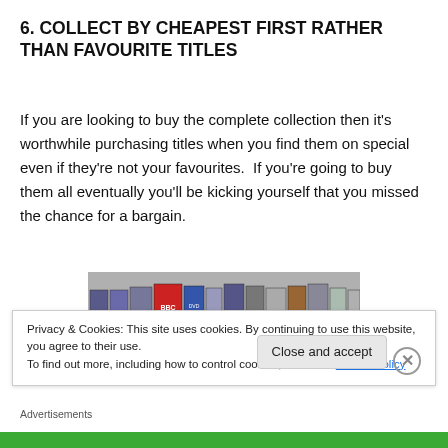6. COLLECT BY CHEAPEST FIRST RATHER THAN FAVOURITE TITLES
If you are looking to buy the complete collection then it's worthwhile purchasing titles when you find them on special even if they're not your favourites.  If you're going to buy them all eventually you'll be kicking yourself that you missed the chance for a bargain.
[Figure (photo): A shelf of DVD box sets including BBC and other titles lined up together]
Privacy & Cookies: This site uses cookies. By continuing to use this website, you agree to their use.
To find out more, including how to control cookies, see here: Cookie Policy
Advertisements